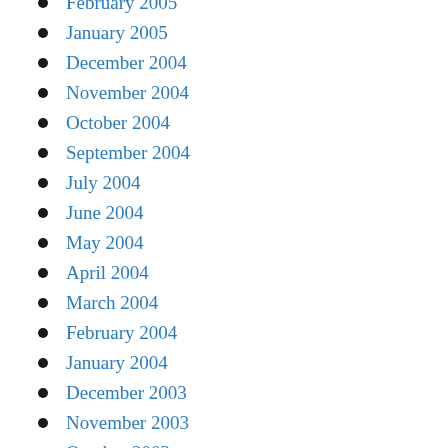February 2005
January 2005
December 2004
November 2004
October 2004
September 2004
July 2004
June 2004
May 2004
April 2004
March 2004
February 2004
January 2004
December 2003
November 2003
October 2003
June 2003